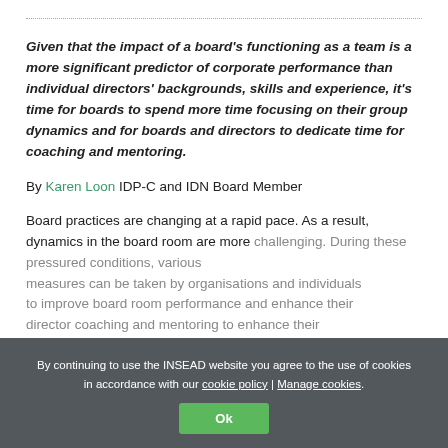Given that the impact of a board's functioning as a team is a more significant predictor of corporate performance than individual directors' backgrounds, skills and experience, it's time for boards to spend more time focusing on their group dynamics and for boards and directors to dedicate time for coaching and mentoring.
By Karen Loon IDP-C and IDN Board Member
Board practices are changing at a rapid pace. As a result, dynamics in the board room are more challenging. During these pressured conditions, various measures can be taken by organisations to improve board room performance and enhance director coaching and mentoring to enhance their
By continuing to use the INSEAD website you agree to the use of cookies in accordance with our cookie policy | Manage cookies. Ok